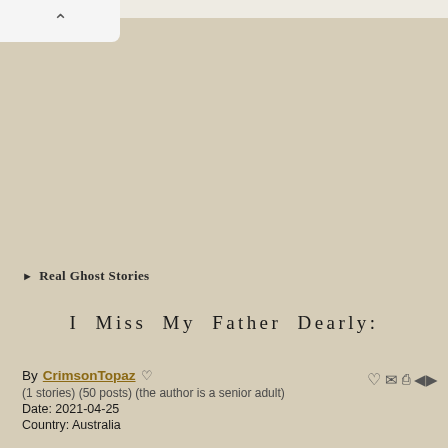Real Ghost Stories
I Miss My Father Dearly:
By CrimsonTopaz ♡
(1 stories) (50 posts) (the author is a senior adult)
Date: 2021-04-25
Country: Australia